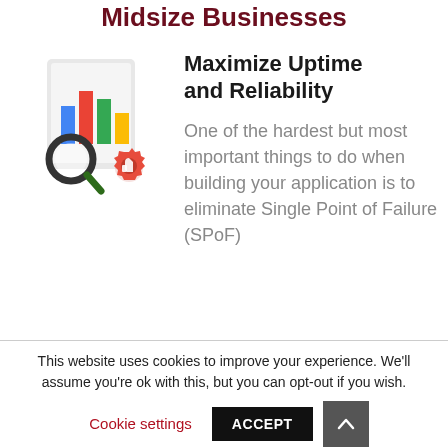Midsize Businesses
[Figure (illustration): Illustration of a bar chart document with a magnifying glass and a red gear icon with a thumbs up]
Maximize Uptime and Reliability
One of the hardest but most important things to do when building your application is to eliminate Single Point of Failure (SPoF)
This website uses cookies to improve your experience. We'll assume you're ok with this, but you can opt-out if you wish.
Cookie settings  ACCEPT